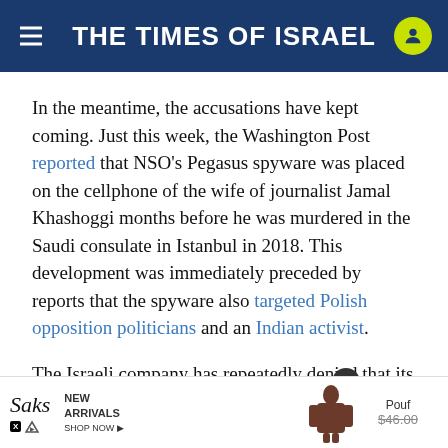THE TIMES OF ISRAEL
In the meantime, the accusations have kept coming. Just this week, the Washington Post reported that NSO’s Pegasus spyware was placed on the cellphone of the wife of journalist Jamal Khashoggi months before he was murdered in the Saudi consulate in Istanbul in 2018. This development was immediately preceded by reports that the spyware also targeted Polish opposition politicians and an Indian activist.
The Israeli company has repeatedly denied that its spyware was used to target Khashoggi or those close to him, and has insisted it can only t… [and]
[Figure (screenshot): Saks Fifth Avenue advertisement banner showing logo, NEW ARRIVALS SHOP NOW text, a brown coat/jumpsuit illustration, Pouf label, and $46.00 crossed-out price, with a close (X) button.]